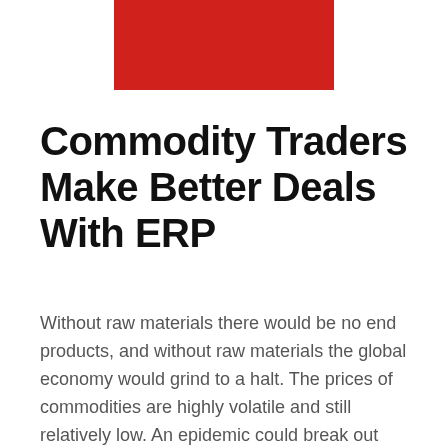[Figure (other): Red rectangle graphic/logo placeholder at the top center of the page]
Commodity Traders Make Better Deals With ERP
Without raw materials there would be no end products, and without raw materials the global economy would grind to a halt. The prices of commodities are highly volatile and still relatively low. An epidemic could break out without warning, or an armed conflict might suddenly flare up. The prices are at the mercy of constantly changing direct and indirect factors. Commodity traders are